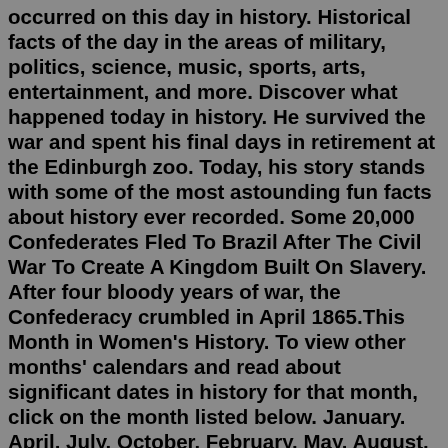occurred on this day in history. Historical facts of the day in the areas of military, politics, science, music, sports, arts, entertainment, and more. Discover what happened today in history. He survived the war and spent his final days in retirement at the Edinburgh zoo. Today, his story stands with some of the most astounding fun facts about history ever recorded. Some 20,000 Confederates Fled To Brazil After The Civil War To Create A Kingdom Built On Slavery. After four bloody years of war, the Confederacy crumbled in April 1865.This Month in Women's History. To view other months' calendars and read about significant dates in history for that month, click on the month listed below. January. April. July. October. February. May. August. Here are the important historical events, facts, and some myths about this day. Interesting Facts & Myths About July 26 July 26 is the 207 th day of the year 2022. There are 158 days remaining until the end of this year. The day of the week is Tuesday. This day falls under the 30 th week of the year 2022.Or do you just want to know